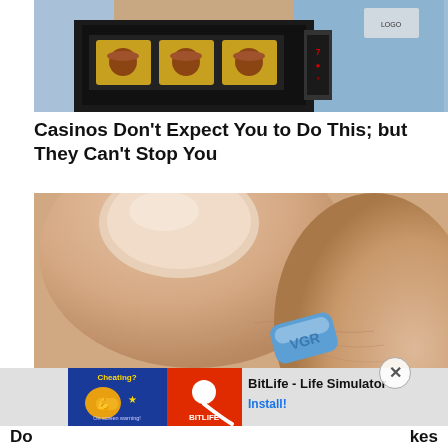[Figure (photo): Person standing at a casino slot machine, wearing a light blue shirt, operating the machine which shows reels with food symbols]
Casinos Don't Expect You to Do This; but They Can't Stop You
[Figure (photo): Close-up macro photo of fingers holding a small blue diamond-shaped pill (resembling Viagra)]
[Figure (screenshot): Advertisement bar showing BitLife - Life Simulator app ad with install button]
Do                                                                          kes